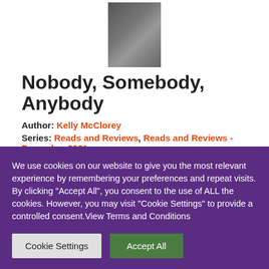[Figure (illustration): Small book cover thumbnail for 'Nobody, Somebody, Anybody' centered at the top of the page]
Nobody, Somebody, Anybody
Author: Kelly McClorey
Series: Reads and Reviews, Reads and Reviews - December 2021
Genre: Contemporary Novel
Amy Hanley first appears as a regular 20
We use cookies on our website to give you the most relevant experience by remembering your preferences and repeat visits. By clicking "Accept All", you consent to the use of ALL the cookies. However, you may visit "Cookie Settings" to provide a controlled consent.View Terms and Conditions